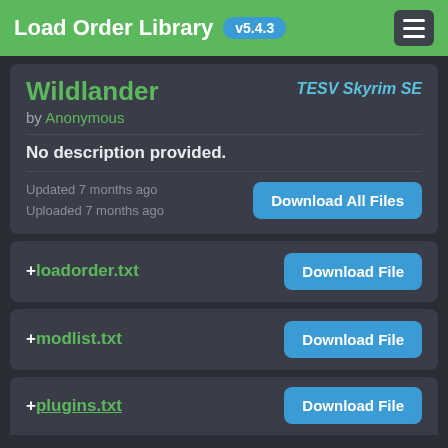Load Order Library v5.4.3
Wildlander
TESV Skyrim SE
by Anonymous
No description provided.
Updated 7 months ago
Uploaded 7 months ago
Download All Files
+loadorder.txt  Download File
+modlist.txt  Download File
+plugins.txt  Download File